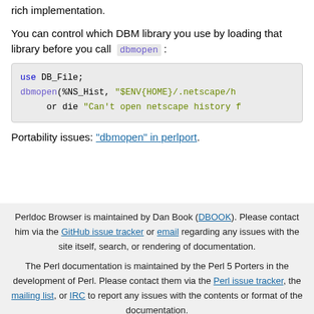rich implementation.
You can control which DBM library you use by loading that library before you call dbmopen :
use DB_File;
dbmopen(%NS_Hist, "$ENV{HOME}/.netscape/h
     or die "Can't open netscape history f
Portability issues: "dbmopen" in perlport.
Perldoc Browser is maintained by Dan Book (DBOOK). Please contact him via the GitHub issue tracker or email regarding any issues with the site itself, search, or rendering of documentation.

The Perl documentation is maintained by the Perl 5 Porters in the development of Perl. Please contact them via the Perl issue tracker, the mailing list, or IRC to report any issues with the contents or format of the documentation.